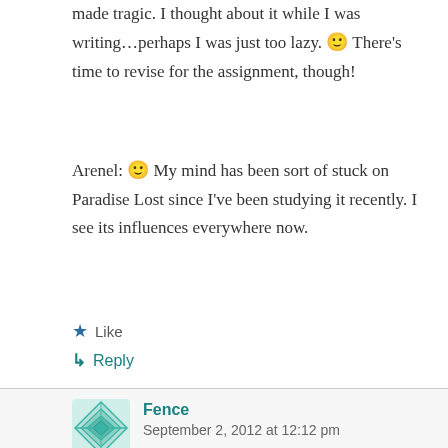made tragic. I thought about it while I was writing…perhaps I was just too lazy. 🙂 There's time to revise for the assignment, though!
Arenel: 🙂 My mind has been sort of stuck on Paradise Lost since I've been studying it recently. I see its influences everywhere now.
Like
Reply
Fence
September 2, 2012 at 12:12 pm
And of course that should have been Griffin, not